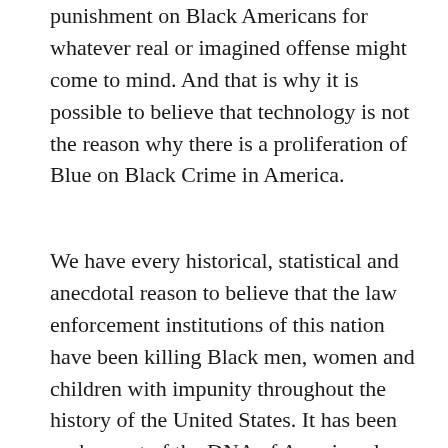punishment on Black Americans for whatever real or imagined offense might come to mind. And that is why it is possible to believe that technology is not the reason why there is a proliferation of Blue on Black Crime in America.
We have every historical, statistical and anecdotal reason to believe that the law enforcement institutions of this nation have been killing Black men, women and children with impunity throughout the history of the United States. It has been such a part of the DNA of American law enforcement that some police officers have been unable to stop